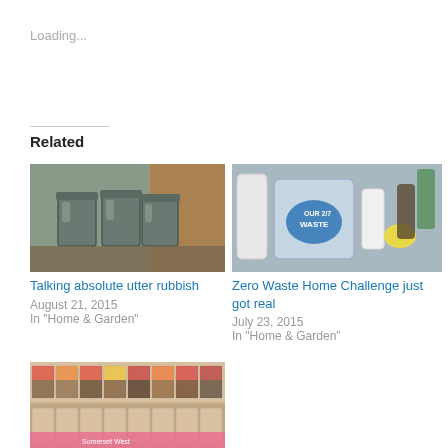Loading...
Related
[Figure (photo): Metal buckets/pails on a shelf with amber liquid in background]
Talking absolute utter rubbish
August 21, 2015
In "Home & Garden"
[Figure (photo): Glass jar with blue heart label reading OUR 2/7 WASTE, surrounded by household items including lemon]
Zero Waste Home Challenge just got real
July 23, 2015
In "Home & Garden"
[Figure (photo): Bulk food store shelves with jars and containers, Somerset West label visible at bottom]